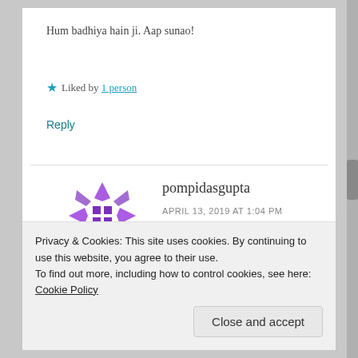Hum badhiya hain ji. Aap sunao!
★ Liked by 1 person
Reply
[Figure (illustration): Purple decorative avatar/icon for user pompidasgupta, consisting of geometric shapes and arrows arranged in a circular pattern.]
pompidasgupta
APRIL 13, 2019 AT 1:04 PM
Privacy & Cookies: This site uses cookies. By continuing to use this website, you agree to their use.
To find out more, including how to control cookies, see here: Cookie Policy
Close and accept